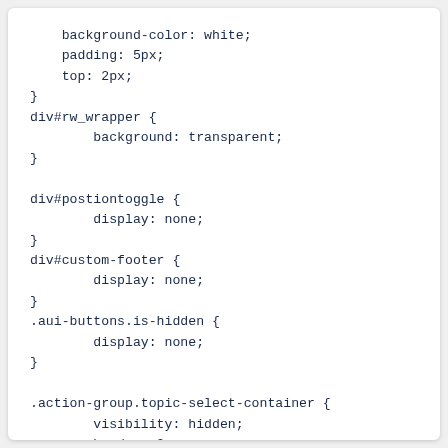background-color: white;
    padding: 5px;
    top: 2px;
}
div#rw_wrapper {
        background: transparent;
}

div#postiontoggle {
        display: none;
}
div#custom-footer {
        display: none;
}
.aui-buttons.is-hidden {
        display: none;
}

.action-group.topic-select-container {
        visibility: hidden;
        border: 0px;
}